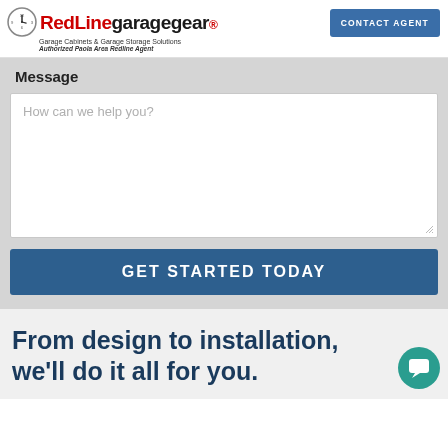[Figure (logo): RedLine Garage Gear logo with clock icon, red and black text, subtitle 'Garage Cabinets & Garage Storage Solutions', and italic 'Authorized Paola Area Redline Agent']
CONTACT AGENT
Message
How can we help you?
GET STARTED TODAY
From design to installation, we'll do it all for you.